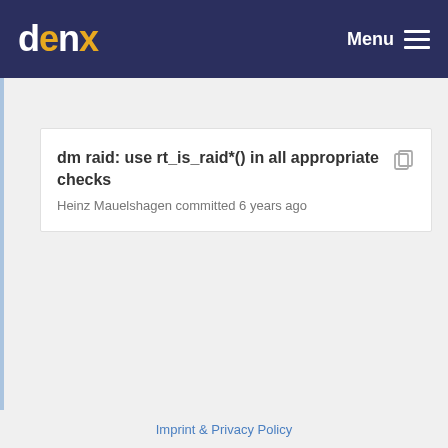denx — Menu
dm raid: use rt_is_raid*() in all appropriate checks
Heinz Mauelshagen committed 6 years ago
Imprint & Privacy Policy